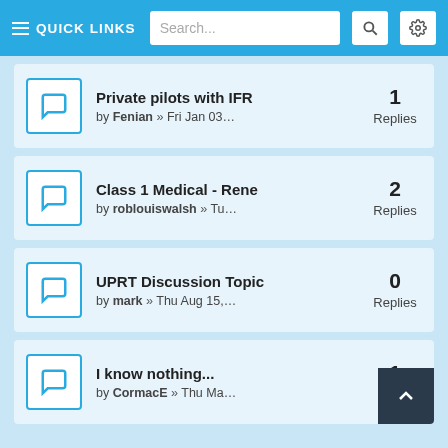≡ QUICK LINKS  Search...
Private pilots with IFR — by Fenian » Fri Jan 03… — 1 Replies
Class 1 Medical - Rene — by roblouiswalsh » Tu… — 2 Replies
UPRT Discussion Topic — by mark » Thu Aug 15,… — 0 Replies
I know nothing... — by CormacE » Thu Ma… — 1 Rep…